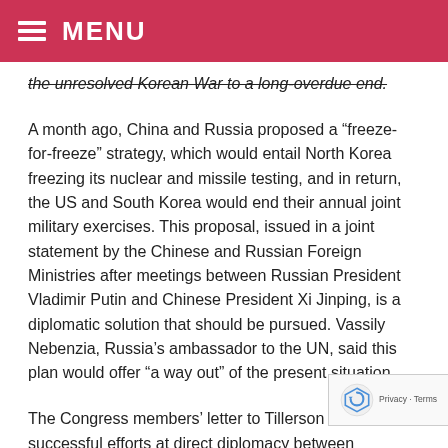≡ MENU
the unresolved Korean War to a long-overdue end.
A month ago, China and Russia proposed a “freeze-for-freeze” strategy, which would entail North Korea freezing its nuclear and missile testing, and in return, the US and South Korea would end their annual joint military exercises. This proposal, issued in a joint statement by the Chinese and Russian Foreign Ministries after meetings between Russian President Vladimir Putin and Chinese President Xi Jinping, is a diplomatic solution that should be pursued. Vassily Nebenzia, Russia’s ambassador to the UN, said this plan would offer “a way out” of the present situation.
The Congress members’ letter to Tillerson cited successful efforts at direct diplomacy between Washington and Pyongyang in 1994 and 2000, lat… scuttled by Under Secretary of State for Arms Control…